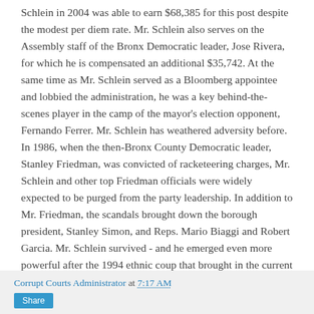Schlein in 2004 was able to earn $68,385 for this post despite the modest per diem rate. Mr. Schlein also serves on the Assembly staff of the Bronx Democratic leader, Jose Rivera, for which he is compensated an additional $35,742. At the same time as Mr. Schlein served as a Bloomberg appointee and lobbied the administration, he was a key behind-the-scenes player in the camp of the mayor's election opponent, Fernando Ferrer. Mr. Schlein has weathered adversity before. In 1986, when the then-Bronx County Democratic leader, Stanley Friedman, was convicted of racketeering charges, Mr. Schlein and other top Friedman officials were widely expected to be purged from the party leadership. In addition to Mr. Friedman, the scandals brought down the borough president, Stanley Simon, and Reps. Mario Biaggi and Robert Garcia. Mr. Schlein survived - and he emerged even more powerful after the 1994 ethnic coup that brought in the current Hispanic Bronx Democratic leadership.
Corrupt Courts Administrator at 7:17 AM